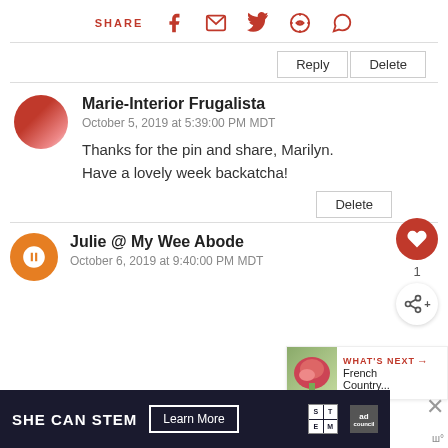SHARE
Reply Delete
Marie-Interior Frugalista
October 5, 2019 at 5:39:00 PM MDT
Thanks for the pin and share, Marilyn. Have a lovely week backatcha!
Delete
1
Julie @ My Wee Abode
October 6, 2019 at 9:40:00 PM MDT
[Figure (infographic): SHE CAN STEM advertisement with Learn More button, STEM logo grid, and Ad Council logo]
[Figure (other): WHAT'S NEXT arrow label with French Country... teaser and flower image thumbnail]